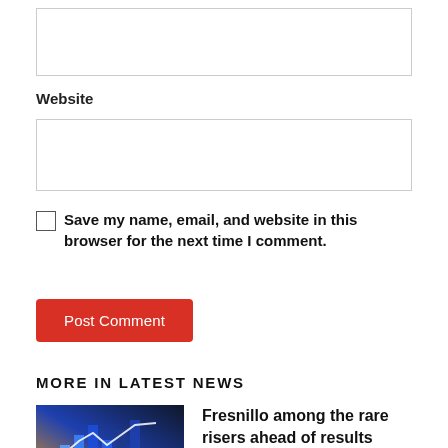(input box — top, unlabeled)
Website
(website input box)
Save my name, email, and website in this browser for the next time I comment.
Post Comment
MORE IN LATEST NEWS
[Figure (photo): Stock market chart with blue and orange glowing bars]
Fresnillo among the rare risers ahead of results
March 4, 2022   0